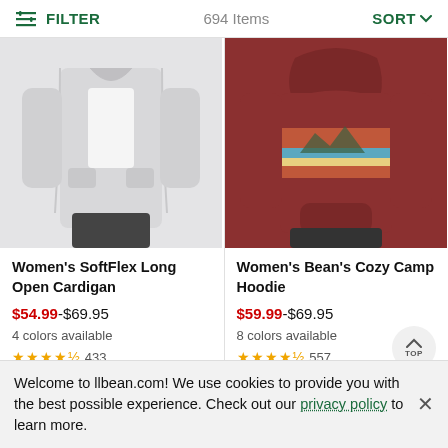FILTER   694 Items   SORT
[Figure (photo): Woman wearing a light gray open-front long cardigan over a white top with dark pants]
[Figure (photo): Woman wearing a dark red/maroon hoodie with a mountain landscape graphic on the chest]
Women's SoftFlex Long Open Cardigan
$54.99-$69.95
4 colors available
★★★★½ 433
Women's Bean's Cozy Camp Hoodie
$59.99-$69.95
8 colors available
★★★★½ 557
Welcome to llbean.com! We use cookies to provide you with the best possible experience. Check out our privacy policy to learn more.